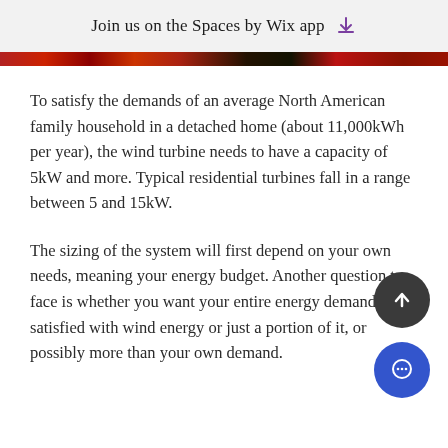Join us on the Spaces by Wix app
[Figure (photo): Decorative image strip showing red flowers/tulips]
To satisfy the demands of an average North American family household in a detached home (about 11,000kWh per year), the wind turbine needs to have a capacity of 5kW and more. Typical residential turbines fall in a range between 5 and 15kW.
The sizing of the system will first depend on your own needs, meaning your energy budget. Another question to face is whether you want your entire energy demand to be satisfied with wind energy or just a portion of it, or possibly more than your own demand.